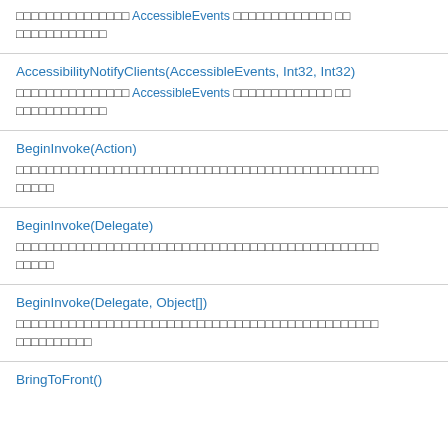□□□□□□□□□□□□□□□ AccessibleEvents □□□□□□□□□□□□□ □□ □□□□□□□□□□□□
AccessibilityNotifyClients(AccessibleEvents, Int32, Int32)
□□□□□□□□□□□□□□□ AccessibleEvents □□□□□□□□□□□□□ □□ □□□□□□□□□□□□
BeginInvoke(Action)
□□□□□□□□□□□□□□□□□□□□□□□□□□□□□□□□□□□□□□□□□□□□□□□□ □□□□□
BeginInvoke(Delegate)
□□□□□□□□□□□□□□□□□□□□□□□□□□□□□□□□□□□□□□□□□□□□□□□□ □□□□□
BeginInvoke(Delegate, Object[])
□□□□□□□□□□□□□□□□□□□□□□□□□□□□□□□□□□□□□□□□□□□□□□□□ □□□□□□□□□□
BringToFront()